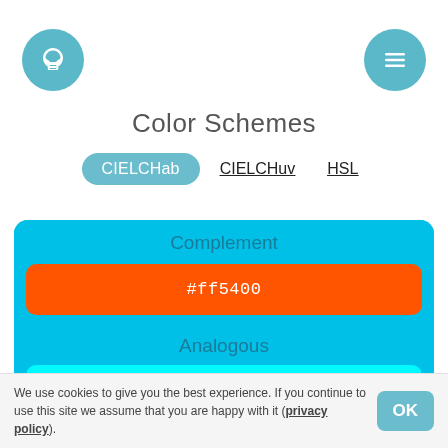[Figure (logo): Light bulb icon in teal circle (top left)]
[Figure (logo): Hamburger menu icon in teal circle (top right)]
Color Schemes
CIELCHab  CIELCHuv  HSL
Complement
#ff5400
Analogous
#00f8ff
#00a2ff
We use cookies to give you the best experience. If you continue to use this site we assume that you are happy with it (privacy policy).